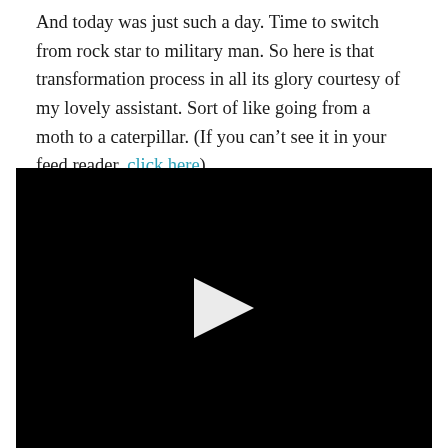And today was just such a day. Time to switch from rock star to military man. So here is that transformation process in all its glory courtesy of my lovely assistant. Sort of like going from a moth to a caterpillar. (If you can't see it in your feed reader, click here).
[Figure (screenshot): Black video player with a white play button triangle in the center]